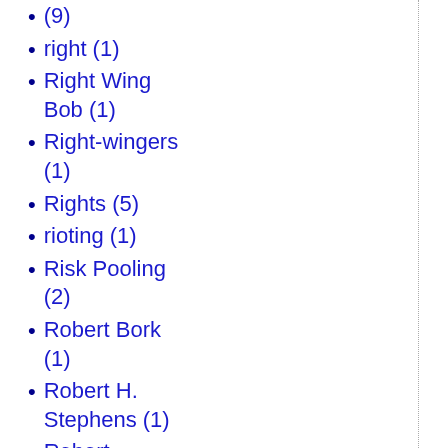(9)
right (1)
Right Wing Bob (1)
Right-wingers (1)
Rights (5)
rioting (1)
Risk Pooling (2)
Robert Bork (1)
Robert H. Stephens (1)
Robert